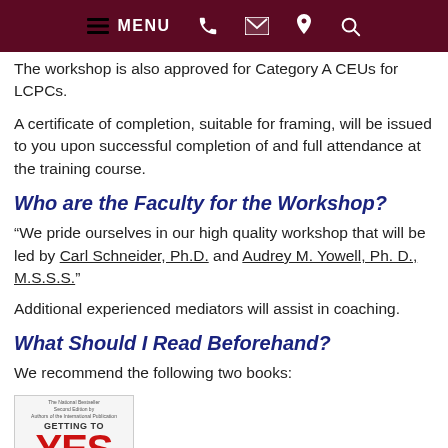MENU (navigation bar with icons: phone, email, location, search)
The workshop is also approved for Category A CEUs for LCPCs.
A certificate of completion, suitable for framing, will be issued to you upon successful completion of and full attendance at the training course.
Who are the Faculty for the Workshop?
“We pride ourselves in our high quality workshop that will be led by Carl Schneider, Ph.D. and Audrey M. Yowell, Ph. D., M.S.S.S.”
Additional experienced mediators will assist in coaching.
What Should I Read Beforehand?
We recommend the following two books:
[Figure (photo): Book cover of 'Getting to Yes' with red YES text and blue National Bestseller banner at top]